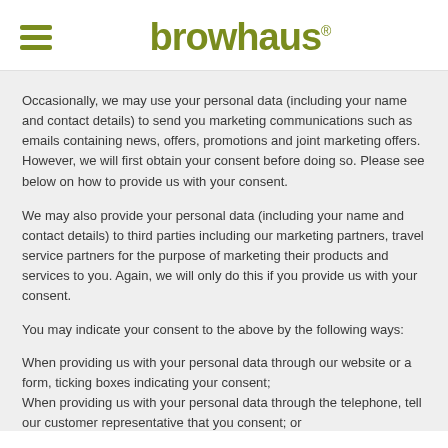browhaus
Occasionally, we may use your personal data (including your name and contact details) to send you marketing communications such as emails containing news, offers, promotions and joint marketing offers. However, we will first obtain your consent before doing so. Please see below on how to provide us with your consent.
We may also provide your personal data (including your name and contact details) to third parties including our marketing partners, travel service partners for the purpose of marketing their products and services to you. Again, we will only do this if you provide us with your consent.
You may indicate your consent to the above by the following ways:
When providing us with your personal data through our website or a form, ticking boxes indicating your consent;
When providing us with your personal data through the telephone, tell our customer representative that you consent; or